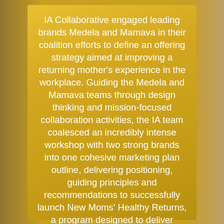IA Collaborative engaged leading brands Medela and Mamava in their coalition efforts to define an offering strategy aimed at improving a returning mother's experience in the workplace. Guiding the Medela and Mamava teams through design thinking and mission-focused collaboration activities, the IA team coalesced an incredibly intense workshop with two strong brands into one cohesive marketing plan outline, delivering positioning, guiding principles and recommendations to successfully launch New Moms' Healthy Returns, a program designed to deliver equipment, space, advocacy, and tools for breastfeeding mothers and the employers who support them. Post-launch, the IA Collaborative team designed the New Moms'